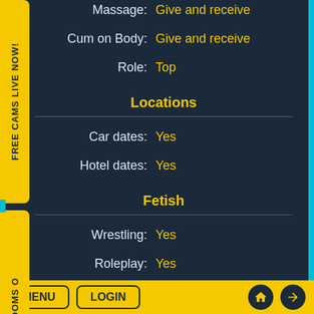Massage: Give and receive
Cum on Body: Give and receive
Role: Top
Locations
Car dates: Yes
Hotel dates: Yes
Fetish
Wrestling: Yes
Roleplay: Yes
Spanking: Give
MENU  LOGIN